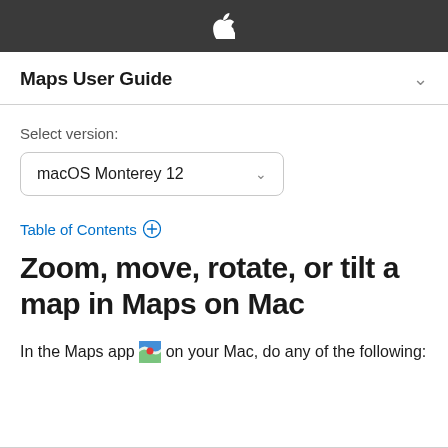Apple logo header bar
Maps User Guide
Select version:
macOS Monterey 12
Table of Contents +
Zoom, move, rotate, or tilt a map in Maps on Mac
In the Maps app on your Mac, do any of the following: